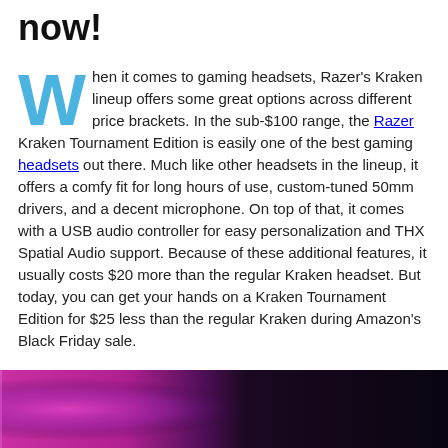now!
When it comes to gaming headsets, Razer's Kraken lineup offers some great options across different price brackets. In the sub-$100 range, the Razer Kraken Tournament Edition is easily one of the best gaming headsets out there. Much like other headsets in the lineup, it offers a comfy fit for long hours of use, custom-tuned 50mm drivers, and a decent microphone. On top of that, it comes with a USB audio controller for easy personalization and THX Spatial Audio support. Because of these additional features, it usually costs $20 more than the regular Kraken headset. But today, you can get your hands on a Kraken Tournament Edition for $25 less than the regular Kraken during Amazon's Black Friday sale.
[Figure (photo): Bottom portion of a product photo showing a Razer gaming headset with pink/magenta and dark background lighting]